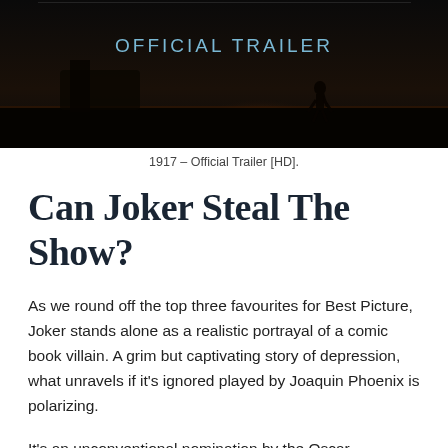[Figure (screenshot): Movie trailer thumbnail showing silhouettes of soldiers at sunset with text 'OFFICIAL TRAILER' on a dark background. The film is '1917'.]
1917 – Official Trailer [HD].
Can Joker Steal The Show?
As we round off the top three favourites for Best Picture, Joker stands alone as a realistic portrayal of a comic book villain. A grim but captivating story of depression, what unravels if it's ignored played by Joaquin Phoenix is polarizing.
It's an unconventional nomination by the Oscar committee for Best Picture, and although it deserves to